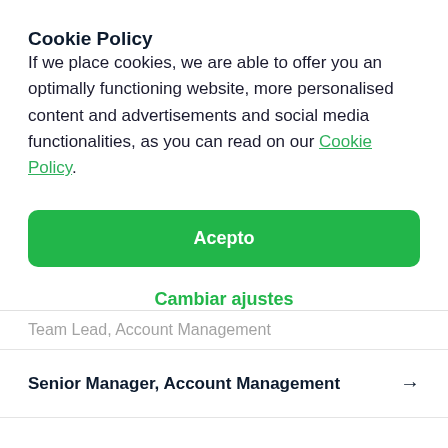Cookie Policy
If we place cookies, we are able to offer you an optimally functioning website, more personalised content and advertisements and social media functionalities, as you can read on our Cookie Policy.
Acepto
Cambiar ajustes
Team Lead, Account Management
Senior Manager, Account Management →